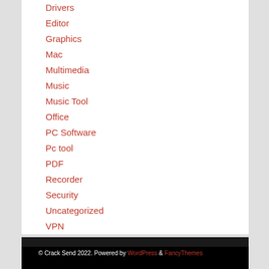Drivers
Editor
Graphics
Mac
Multimedia
Music
Music Tool
Office
PC Software
Pc tool
PDF
Recorder
Security
Uncategorized
VPN
© Crack Send 2022. Powered by WordPress & FancyThemes